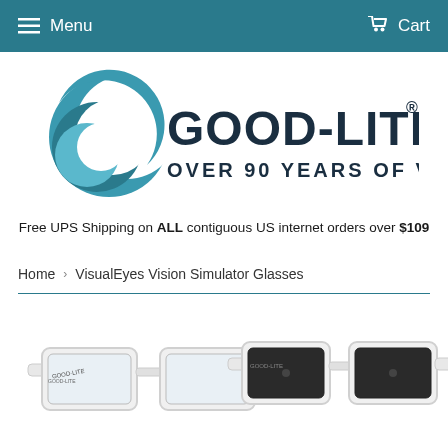Menu   Cart
[Figure (logo): Good-Lite logo: teal crescent wave icon with text 'GOOD-LITE' and tagline 'OVER 90 YEARS OF VISION']
Free UPS Shipping on ALL contiguous US internet orders over $109
Home › VisualEyes Vision Simulator Glasses
[Figure (photo): Two pairs of white VisualEyes Vision Simulator Glasses side by side. Left pair has clear lenses, right pair has dark/opaque lenses. Both have 'Good-Lite' text on the frame.]